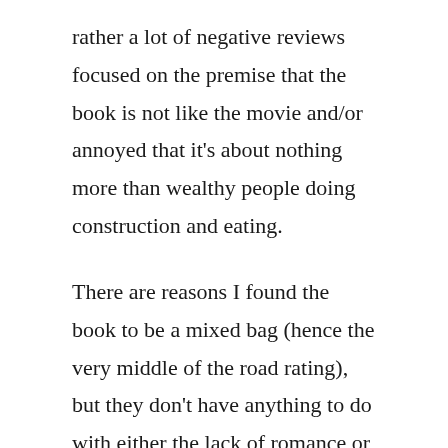rather a lot of negative reviews focused on the premise that the book is not like the movie and/or annoyed that it's about nothing more than wealthy people doing construction and eating.
There are reasons I found the book to be a mixed bag (hence the very middle of the road rating), but they don't have anything to do with either the lack of romance or the privilege. Well, sort of the latter, I guess, because my biggest beef with the book is that there isn't really any conflict. Story structure has remained remarkably consistent over recorded history, which means